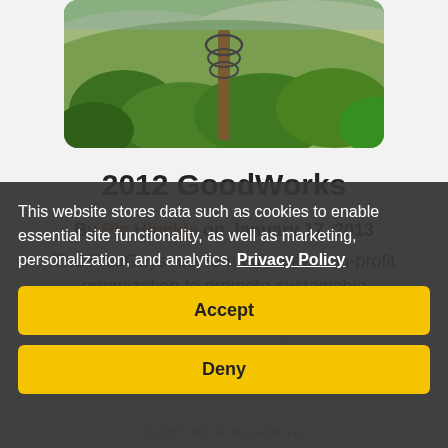[Figure (photo): Photograph of a vineyard or orchard with green foliage and hills in the background, partially visible at top of page]
2012 GoodWorks
By Pia Hinckle on January 17, 2013
The FruitGuys has formed a new non-profit organization to promote sustainable
This website stores data such as cookies to enable essential site functionality, as well as marketing, personalization, and analytics. Privacy Policy
Accept
Deny
CONTINUE READING